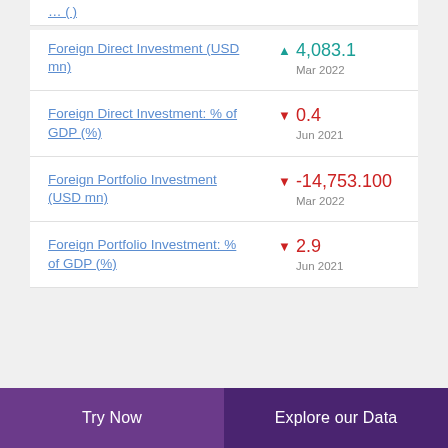Foreign Direct Investment (USD mn) ▲ 4,083.1 Mar 2022
Foreign Direct Investment: % of GDP (%) ▼ 0.4 Jun 2021
Foreign Portfolio Investment (USD mn) ▼ -14,753.100 Mar 2022
Foreign Portfolio Investment: % of GDP (%) ▼ 2.9 Jun 2021
Try Now | Explore our Data